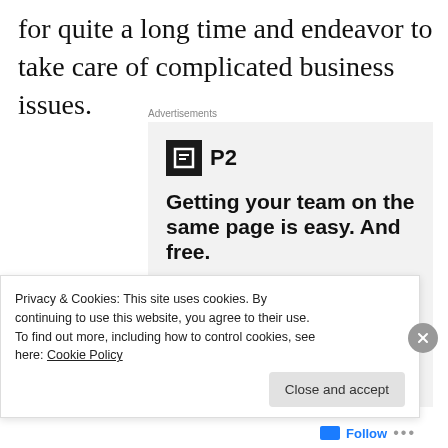for quite a long time and endeavor to take care of complicated business issues.
Advertisements
[Figure (screenshot): Advertisement for P2 product. Shows P2 logo (black square with white lines icon and 'P2' text), headline 'Getting your team on the same page is easy. And free.' with three circular profile photo avatars and a blue circle with a plus sign.]
Privacy & Cookies: This site uses cookies. By continuing to use this website, you agree to their use.
To find out more, including how to control cookies, see here: Cookie Policy